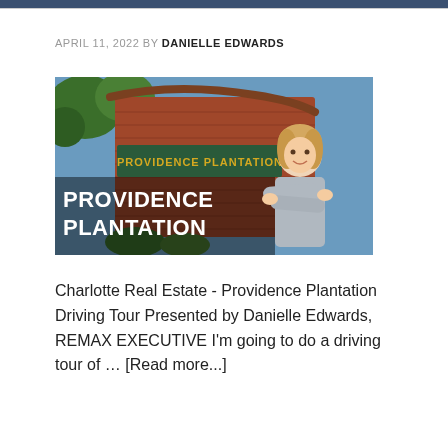APRIL 11, 2022 BY DANIELLE EDWARDS
[Figure (photo): Promotional image for Providence Plantation showing a brick neighborhood entrance sign reading 'PROVIDENCE PLANTATION' with bold white text overlay, and a woman (Danielle Edwards) with arms crossed standing to the right, trees and blue sky in background.]
Charlotte Real Estate - Providence Plantation Driving Tour Presented by Danielle Edwards, REMAX EXECUTIVE I'm going to do a driving tour of … [Read more...]